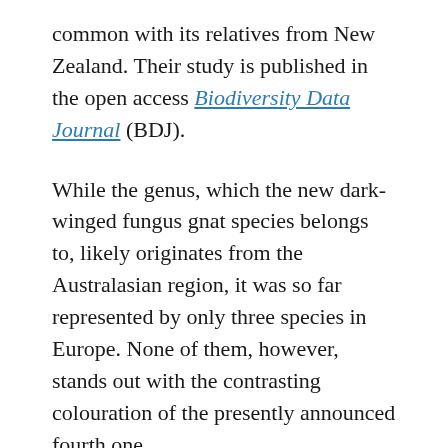common with its relatives from New Zealand. Their study is published in the open access Biodiversity Data Journal (BDJ).
While the genus, which the new dark-winged fungus gnat species belongs to, likely originates from the Australasian region, it was so far represented by only three species in Europe. None of them, however, stands out with the contrasting colouration of the presently announced fourth one.
The new gnat, called Ctenosciara alexanderkoenigi after the German museum's founder, is described based on a single specimen caught in the framework of the